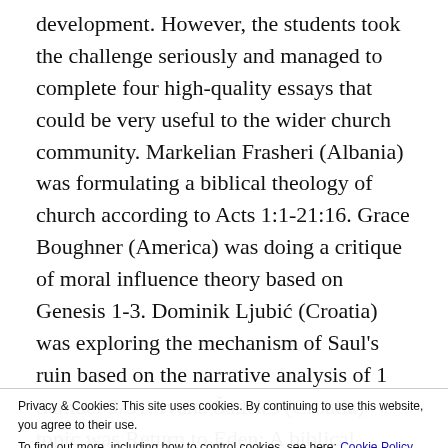development. However, the students took the challenge seriously and managed to complete four high-quality essays that could be very useful to the wider church community. Markelian Frasheri (Albania) was formulating a biblical theology of church according to Acts 1:1-21:16. Grace Boughner (America) was doing a critique of moral influence theory based on Genesis 1-3. Dominik Ljubić (Croatia) was exploring the mechanism of Saul's ruin based on the narrative analysis of 1 Samuel 9-31. Ivana Šadek's (Croatia) topic was Return to Eden: A biblical evaluation of scientific and
theological answers to the 21st century ecological crisis.
As the students worked diligently to meet their obligations, the situation with the pandemic calmed down and the conditions were met to hold the graduation ceremony on Sunday 14 June. We are especially grateful
Privacy & Cookies: This site uses cookies. By continuing to use this website, you agree to their use.
To find out more, including how to control cookies, see here: Cookie Policy